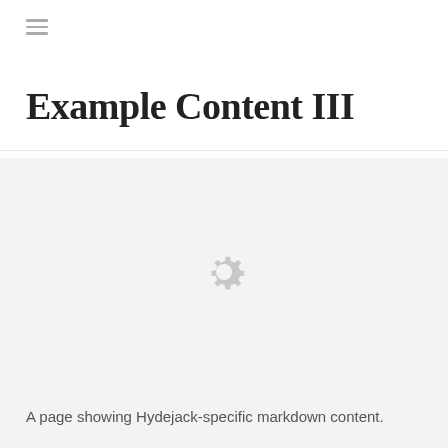≡
Example Content III
[Figure (illustration): A gear/settings icon rendered in light gray, centered in a light gray content area]
A page showing Hydejack-specific markdown content.